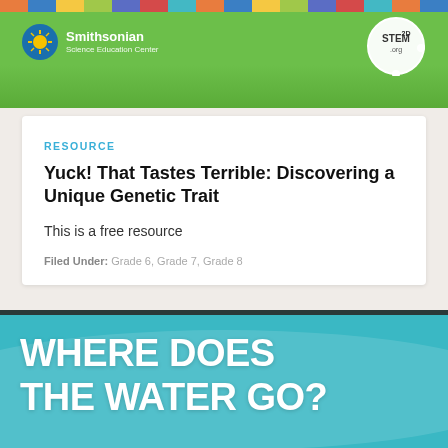[Figure (illustration): Smithsonian Science Education Center banner with green background, colorful strip at top, Smithsonian logo on left, STEM2D badge on right]
RESOURCE
Yuck! That Tastes Terrible: Discovering a Unique Genetic Trait
This is a free resource
Filed Under: Grade 6, Grade 7, Grade 8
[Figure (illustration): Teal/cyan banner with bold white text reading WHERE DOES THE WATER GO?]